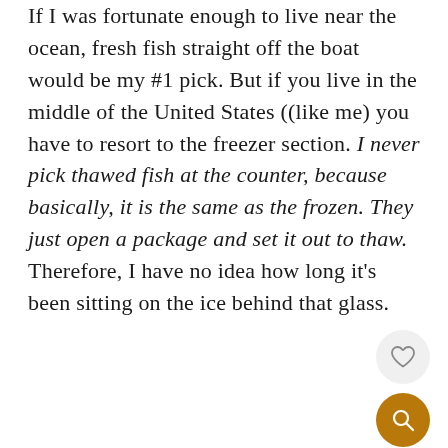If I was fortunate enough to live near the ocean, fresh fish straight off the boat would be my #1 pick. But if you live in the middle of the United States ((like me) you have to resort to the freezer section. I never pick thawed fish at the counter, because basically, it is the same as the frozen. They just open a package and set it out to thaw. Therefore, I have no idea how long it's been sitting on the ice behind that glass.
[Figure (screenshot): Like count showing 1,079 and a heart (like) button circle and a search button circle in gold/brown color]